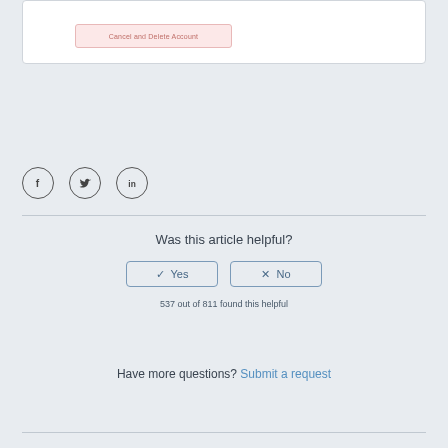[Figure (screenshot): Cancel and Delete Account button in a pink/red outlined box]
[Figure (other): Social sharing icons: Facebook, Twitter, LinkedIn in circular borders]
Was this article helpful?
[Figure (other): Yes and No voting buttons with checkmark and X icons]
537 out of 811 found this helpful
Have more questions? Submit a request